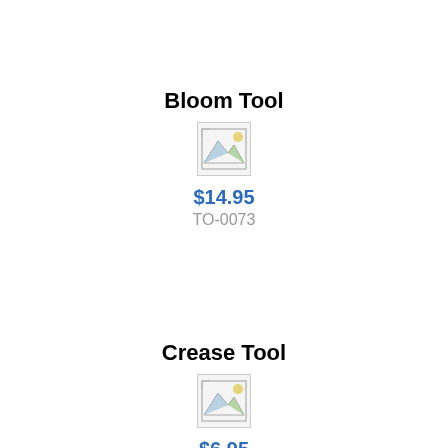Bloom Tool
[Figure (other): Placeholder image icon for Bloom Tool product]
$14.95
TO-0073
Crease Tool
[Figure (other): Placeholder image icon for Crease Tool product]
$6.95
TO-0040